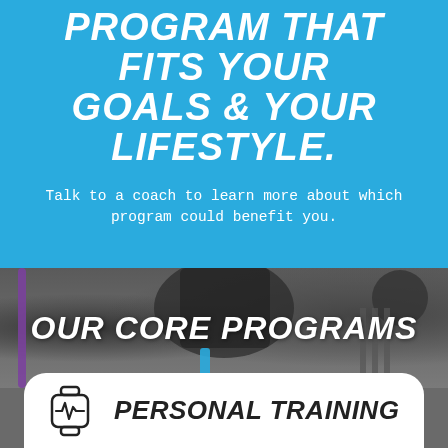PROGRAM THAT FITS YOUR GOALS & YOUR LIFESTYLE.
Talk to a coach to learn more about which program could benefit you.
[Figure (photo): Gym equipment background photo showing exercise machines, resistance bands, and fitness equipment in a dark studio setting]
OUR CORE PROGRAMS
[Figure (illustration): Smartwatch/fitness tracker icon with heartbeat line]
PERSONAL TRAINING